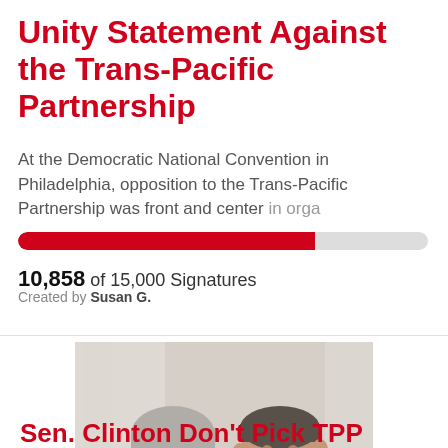Unity Statement Against the Trans-Pacific Partnership
At the Democratic National Convention in Philadelphia, opposition to the Trans-Pacific Partnership was front and center in orga
[Figure (infographic): Progress bar showing 10,858 of 15,000 signatures filled in red (~72%)]
10,858 of 15,000 Signatures
Created by Susan G.
[Figure (photo): Photo of two men smiling, one older with gray hair in a blue tie, one younger in a dark suit with a red tie]
Sen. Clinton Don't Pick TPP